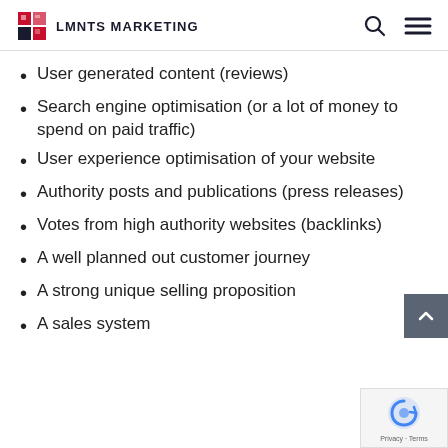LMNTS MARKETING
User generated content (reviews)
Search engine optimisation (or a lot of money to spend on paid traffic)
User experience optimisation of your website
Authority posts and publications (press releases)
Votes from high authority websites (backlinks)
A well planned out customer journey
A strong unique selling proposition
A sales system